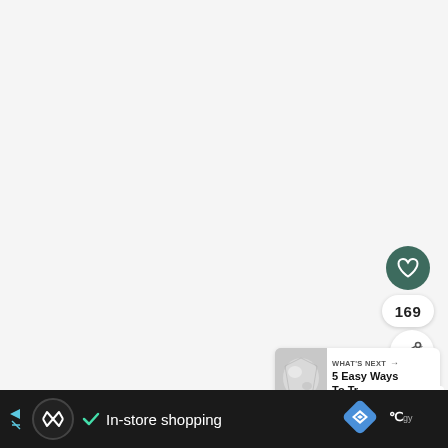[Figure (screenshot): Screenshot of a web/app interface. Large light gray empty main content area. On the right side there is a dark teal circular heart/like button, a count bubble showing '169', and a white circular share button with a share icon. Below is a 'WHAT'S NEXT →' card with a thumbnail image and title '5 Easy Ways To Transitio...'. A partial logo (M monogram) is visible at bottom right. At the bottom is a dark advertisement bar with an infinity-logo circle, a checkmark and 'In-store shopping' text, a blue diamond navigation icon, and partial weather widget.]